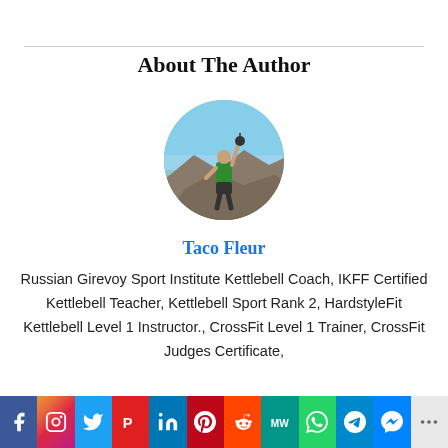About The Author
[Figure (photo): Circular portrait photo of Taco Fleur standing on a mountain peak in a green shirt, holding a kettlebell raised overhead with one arm, blue sky background]
Taco Fleur
Russian Girevoy Sport Institute Kettlebell Coach, IKFF Certified Kettlebell Teacher, Kettlebell Sport Rank 2, HardstyleFit Kettlebell Level 1 Instructor., CrossFit Level 1 Trainer, CrossFit Judges Certificate,
[Figure (infographic): Social media share bar with icons: Facebook, Instagram, Twitter, Parler, LinkedIn, Pinterest, Reddit, MeWe, WhatsApp, Telegram, Messenger, More]